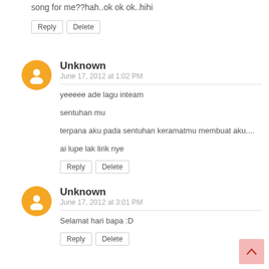song for me??hah..ok ok ok..hihi
Reply   Delete
Unknown
June 17, 2012 at 1:02 PM
yeeeee ade lagu inteam

sentuhan mu

terpana aku pada sentuhan keramatmu membuat aku....

ai lupe lak lirik nye
Reply   Delete
Unknown
June 17, 2012 at 3:01 PM
Selamat hari bapa :D
Reply   Delete